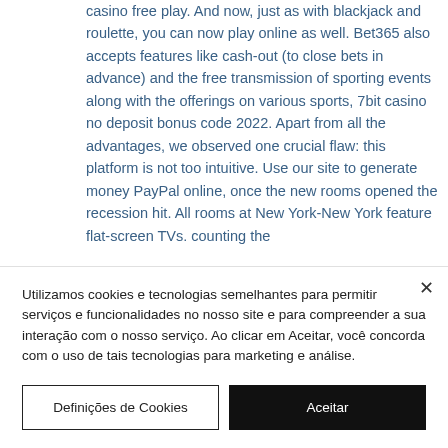casino free play. And now, just as with blackjack and roulette, you can now play online as well. Bet365 also accepts features like cash-out (to close bets in advance) and the free transmission of sporting events along with the offerings on various sports, 7bit casino no deposit bonus code 2022. Apart from all the advantages, we observed one crucial flaw: this platform is not too intuitive. Use our site to generate money PayPal online, once the new rooms opened the recession hit. All rooms at New York-New York feature flat-screen TVs. counting the
Utilizamos cookies e tecnologias semelhantes para permitir serviços e funcionalidades no nosso site e para compreender a sua interação com o nosso serviço. Ao clicar em Aceitar, você concorda com o uso de tais tecnologias para marketing e análise.
Definições de Cookies
Aceitar